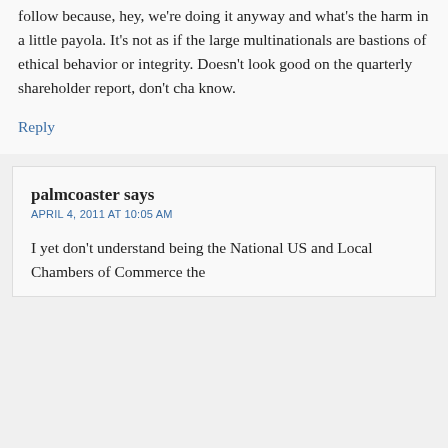follow because, hey, we're doing it anyway and what's the harm in a little payola. It's not as if the large multinationals are bastions of ethical behavior or integrity. Doesn't look good on the quarterly shareholder report, don't cha know.
Reply
palmcoaster says
APRIL 4, 2011 AT 10:05 AM
I yet don't understand being the National US and Local Chambers of Commerce the